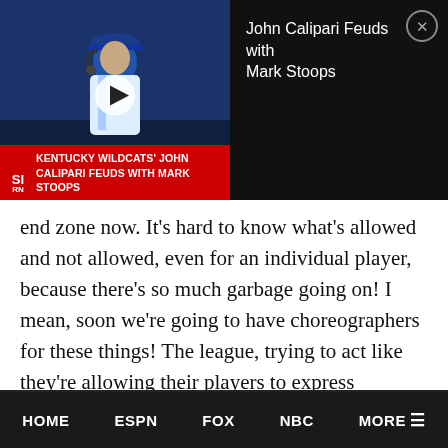[Figure (screenshot): Video thumbnail showing a Kentucky Wildcats coach with headset in blue uniform, with red banner reading 'KENTUCKY WILDCATS' JOHN CALIPARI FEUDS WITH MARK STOOPS' and SI logo, with play button overlay]
John Calipari Feuds with Mark Stoops
end zone now. It's hard to know what's allowed and not allowed, even for an individual player, because there's so much garbage going on! I mean, soon we're going to have choreographers for these things! The league, trying to act like they're allowing their players to express themselves and have fun, have really turned it into a bunch of garbage in the end zone. That's not football. It annoys the heck out of me. I just
HOME   ESPN   FOX   NBC   MORE